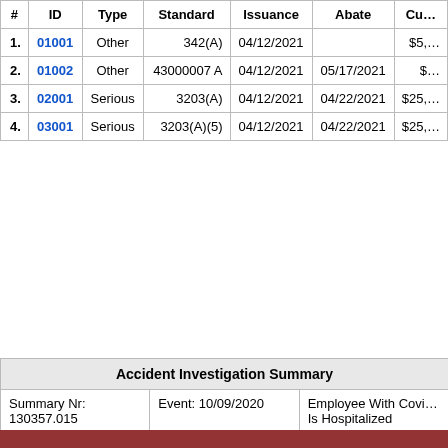| # | ID | Type | Standard | Issuance | Abate | Cu… |
| --- | --- | --- | --- | --- | --- | --- |
| 1. | 01001 | Other | 342(A) | 04/12/2021 |  | $5,… |
| 2. | 01002 | Other | 43000007 A | 04/12/2021 | 05/17/2021 | $… |
| 3. | 02001 | Serious | 3203(A) | 04/12/2021 | 04/22/2021 | $25,… |
| 4. | 03001 | Serious | 3203(A)(5) | 04/12/2021 | 04/22/2021 | $25,… |
Accident Investigation Summary
| Summary Nr: 130357.015 | Event: 10/09/2020 | Employee With Covi… Is Hospitalized |
| --- | --- | --- |
At 11:00 p.m. on October 9, 2020, an employee became infected wit… and was hospitalized.
Keywords: infectious disease
|  | Inspection |  |  | Degree | Natur… |
| --- | --- | --- | --- | --- | --- |
| 1 | 1497482.015 |  |  | Hospitalized injury |  |